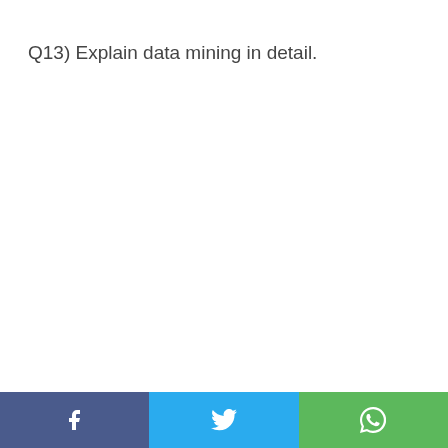Q13) Explain data mining in detail.
Social share bar: Facebook, Twitter, WhatsApp